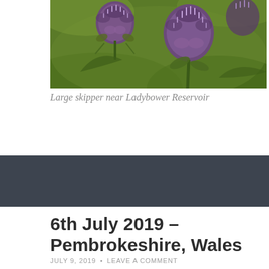[Figure (photo): Close-up photograph of purple thistle flower heads against a green background, near Ladybower Reservoir]
Large skipper near Ladybower Reservoir
[Figure (other): Dark grey/charcoal horizontal banner bar]
6th July 2019 – Pembrokeshire, Wales
JULY 9, 2019 • LEAVE A COMMENT